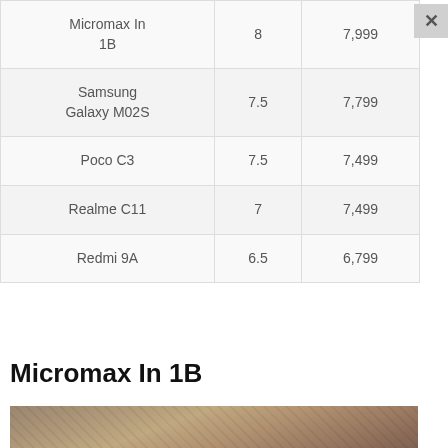| Micromax In 1B | 8 | 7,999 |
| Samsung Galaxy M02S | 7.5 | 7,799 |
| Poco C3 | 7.5 | 7,499 |
| Realme C11 | 7 | 7,499 |
| Redmi 9A | 6.5 | 6,799 |
Micromax In 1B
[Figure (photo): Sandy/rocky ground texture photo strip at bottom of page]